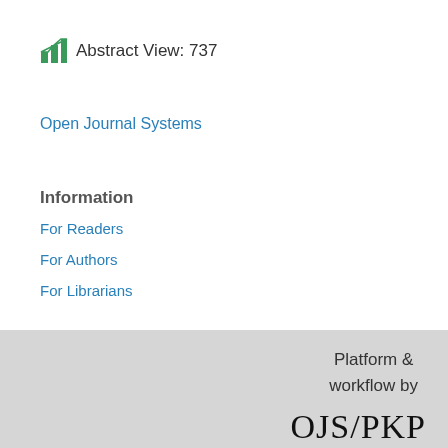Abstract View: 737
Open Journal Systems
Information
For Readers
For Authors
For Librarians
Platform & workflow by OJS/PKP